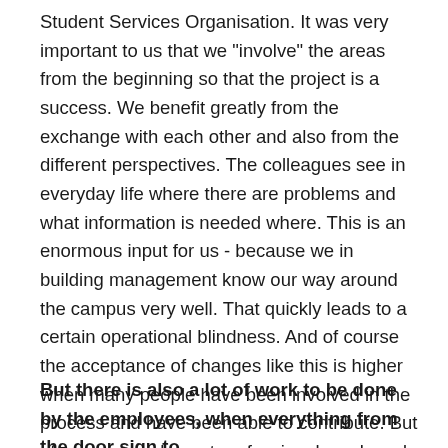Student Services Organisation. It was very important to us that we "involve" the areas from the beginning so that the project is a success. We benefit greatly from the exchange with each other and also from the different perspectives. The colleagues see in everyday life where there are problems and what information is needed where. This is an enormous input for us - because we in building management know our way around the campus very well. That quickly leads to a certain operational blindness. And of course the acceptance of changes like this is higher when many people have been involved in the process and have been able to contribute. But of course we also get professionals on board: our project partner is Form & Fokus from Leipzig, which already has extensive experience in the field of guidance and orientation systems and has implemented numerous projects - also at universities.
But there is also a lot of work to be done by the employees, when everything from the door sign to